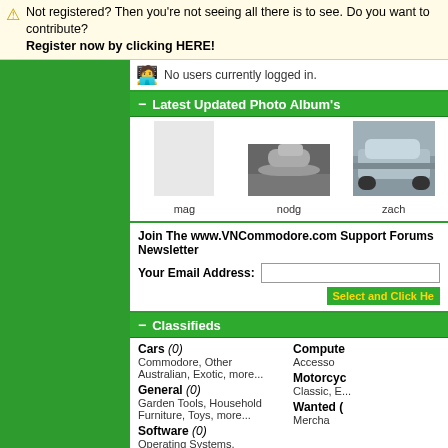Not registered? Then you're not seeing all there is to see. Do you want to contribute? Register now by clicking HERE!
No users currently logged in.
Latest Updated Photo Album's
[Figure (photo): Photo album thumbnails: road/wheel photo, car photo. Labels: mag, nodg, zach]
Join The www.VNCommodore.com Support Forums Newsletter
Your Email Address:
Select and Click He
Classifieds
Cars (0) - Commodore, Other Australian, Exotic, more...
General (0) - Garden Tools, Household Furniture, Toys, more...
Software (0) - Operating Systems, Publishing, Games, more...
Computers (0) - Accessories (partial)
Motorcycles (0) - Classic, E... (partial)
Wanted (0) - Merchandise (partial)
Events Calendar
| Mon | Tue | Wed | Thu | Fri | Sat | Sun |
| --- | --- | --- | --- | --- | --- | --- |
|  |  |  | 1 | 2 | 3 | 4 |
Friday, September 02, 2022
There are no events
Upco